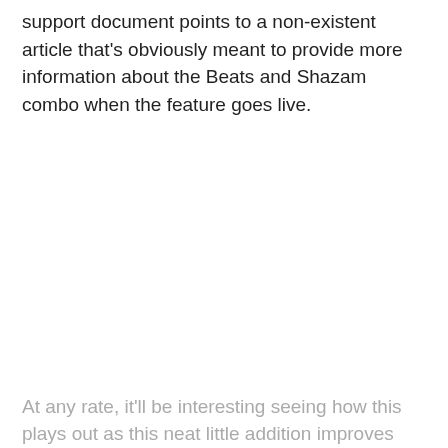support document points to a non-existent article that's obviously meant to provide more information about the Beats and Shazam combo when the feature goes live.
At any rate, it'll be interesting seeing how this plays out as this neat little addition improves